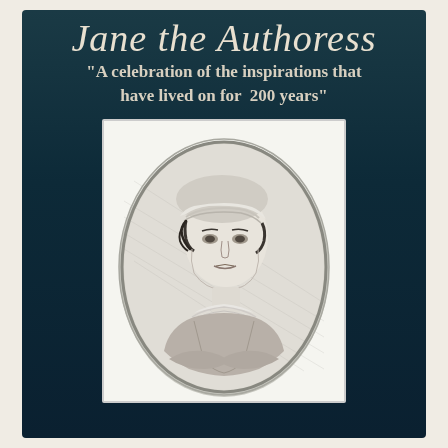Jane the Authoress
"A celebration of the inspirations that have lived on for 200 years"
[Figure (illustration): Black and white engraved portrait of Jane Austen in an oval frame, wearing a bonnet and period dress, looking slightly to the right.]